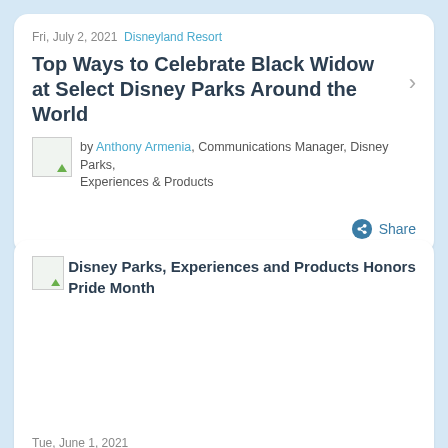Fri, July 2, 2021 Disneyland Resort
Top Ways to Celebrate Black Widow at Select Disney Parks Around the World
by Anthony Armenia, Communications Manager, Disney Parks, Experiences & Products
Share
[Figure (photo): Thumbnail image for Disney Parks, Experiences and Products Honors Pride Month article]
Disney Parks, Experiences and Products Honors Pride Month
Tue, June 1, 2021